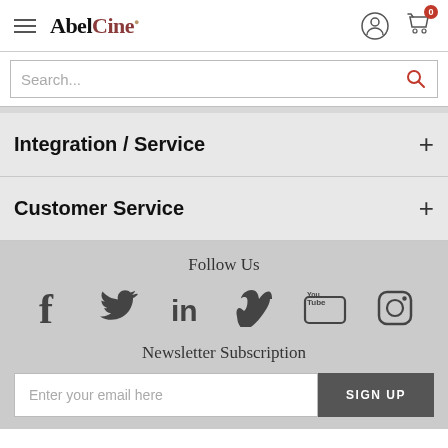AbelCine — Navigation header with hamburger menu, logo, user icon, and cart with 0 items
Search...
Integration / Service
Customer Service
Follow Us
[Figure (infographic): Social media icons: Facebook, Twitter, LinkedIn, Vimeo, YouTube, Instagram]
Newsletter Subscription
Enter your email here   SIGN UP